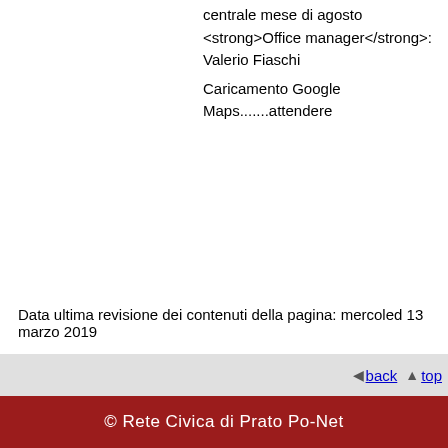centrale mese di agosto
<strong>Office manager</strong>: Valerio Fiaschi
Caricamento Google Maps.......attendere
Data ultima revisione dei contenuti della pagina: mercoled 13 marzo 2019
◄ back ▲ top
© Rete Civica di Prato Po-Net